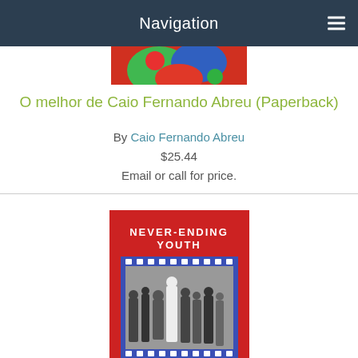Navigation
[Figure (photo): Partial top of book cover for O melhor de Caio Fernando Abreu, showing colorful abstract design in red, green, blue]
O melhor de Caio Fernando Abreu (Paperback)
By Caio Fernando Abreu
$25.44
Email or call for price.
[Figure (photo): Cover of Never-Ending Youth (Paperback) by Uraniano Mota, translated from Portuguese by Peter Lownds. Red cover with bold white text at top reading NEVER-ENDING YOUTH, and a black-and-white photograph of a group of people in a film-strip style border frame. Author and translator names at bottom.]
Never-Ending Youth (Paperback)